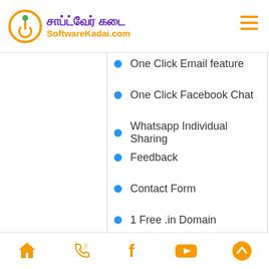[Figure (logo): SoftwareKadai.com logo with orange circle icon, Tamil text in purple and English text in orange]
One Click Email feature
One Click Facebook Chat
Whatsapp Individual Sharing
Feedback
Contact Form
1 Free .in Domain
[Figure (other): WhatsApp button in teal/green color with WhatsApp icon]
Home | Phone | Facebook | YouTube | Up